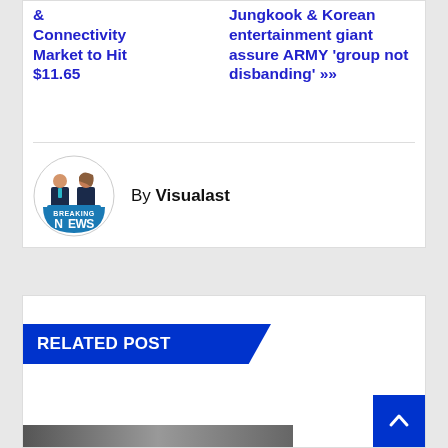& Connectivity Market to Hit $11.65
Jungkook & Korean entertainment giant assure ARMY 'group not disbanding' >>
[Figure (logo): Breaking News logo with two news anchors (male and female) at a desk, with a blue banner reading BREAKING NEWS]
By Visualast
RELATED POST